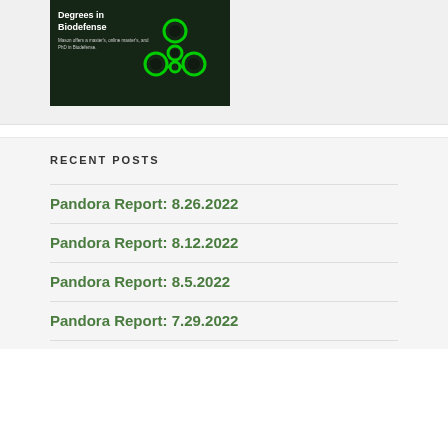[Figure (photo): Biodefense degrees promotional image with biohazard symbol on dark green background. Text reads 'Degrees in Biodefense' and 'Mason offers a master's, online master's, and PhD in Biodefense.']
RECENT POSTS
Pandora Report: 8.26.2022
Pandora Report: 8.12.2022
Pandora Report: 8.5.2022
Pandora Report: 7.29.2022